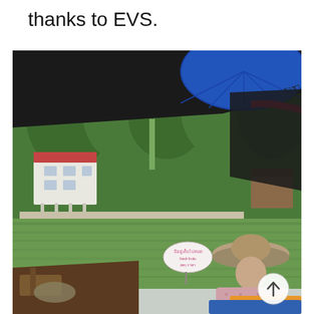thanks to EVS.
[Figure (photo): Outdoor scene at a floating market in Thailand. View from a boat looking across a green canal. A woman wearing a traditional wide-brimmed Thai hat sits in the foreground right. There is a sign in Thai script in the middle distance. Across the water are houses and lush green trees. Overhead, a dark awning and a blue umbrella are visible. A circular scroll-up button is overlaid in the bottom right corner.]